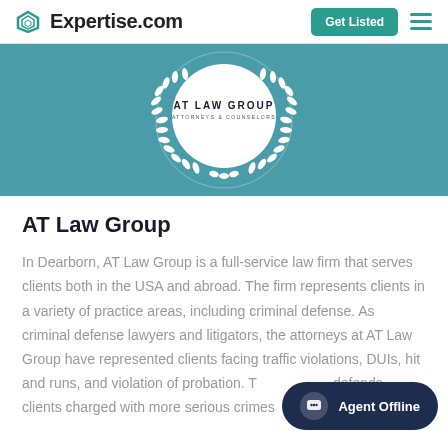Expertise.com
[Figure (logo): AT Law Group circular logo with laurel wreath on teal background]
AT Law Group
In Dearborn, AT Law Group is a full-service law firm that serves clients both in the USA and abroad. The firm represents clients in a variety of practice areas, including criminal defense. As criminal defense lawyers and litigators, the attorneys at AT Law Group have represented clients facing traffic violations, DUIs, hit and runs, and violation of probation. The firm also defends clients charged with more serious crimes